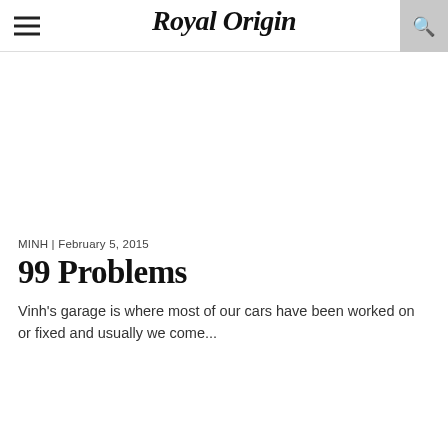Royal Origin
MINH | February 5, 2015
99 Problems
Vinh's garage is where most of our cars have been worked on or fixed and usually we come...